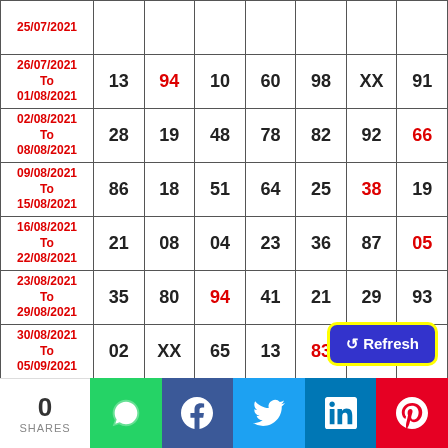| Date | Col1 | Col2 | Col3 | Col4 | Col5 | Col6 | Col7 |
| --- | --- | --- | --- | --- | --- | --- | --- |
| 25/07/2021 |  |  |  |  |  |  |  |
| 26/07/2021 To 01/08/2021 | 13 | 94 | 10 | 60 | 98 | XX | 91 |
| 02/08/2021 To 08/08/2021 | 28 | 19 | 48 | 78 | 82 | 92 | 66 |
| 09/08/2021 To 15/08/2021 | 86 | 18 | 51 | 64 | 25 | 38 | 19 |
| 16/08/2021 To 22/08/2021 | 21 | 08 | 04 | 23 | 36 | 87 | 05 |
| 23/08/2021 To 29/08/2021 | 35 | 80 | 94 | 41 | 21 | 29 | 93 |
| 30/08/2021 To 05/09/2021 | 02 | XX | 65 | 13 | 83 | 20 | 22 |
| 06/09/2021 To ... | 43 | 32 | 54 | 85 | 68 | 32 | 00 |